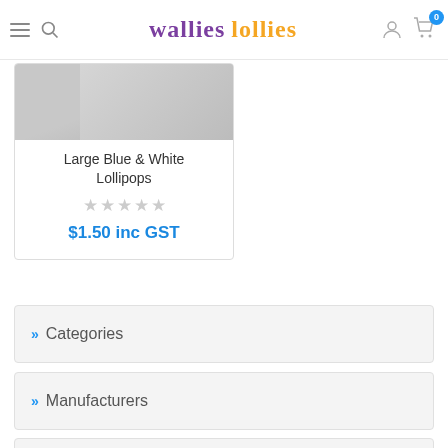Wallies Lollies
[Figure (screenshot): Product card showing Large Blue & White Lollipops with 5-star rating placeholder and price]
Large Blue & White Lollipops
$1.50 inc GST
Categories
Manufacturers
Popular tags